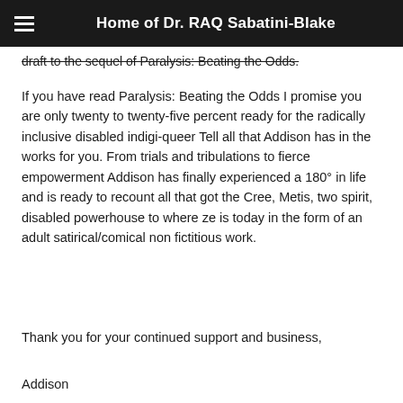Home of Dr. RAQ Sabatini-Blake
draft to the sequel of Paralysis: Beating the Odds.
If you have read Paralysis: Beating the Odds I promise you are only twenty to twenty-five percent ready for the radically inclusive disabled indigi-queer Tell all that Addison has in the works for you. From trials and tribulations to fierce empowerment Addison has finally experienced a 180° in life and is ready to recount all that got the Cree, Metis, two spirit, disabled powerhouse to where ze is today in the form of an adult satirical/comical non fictitious work.
Thank you for your continued support and business,
Addison